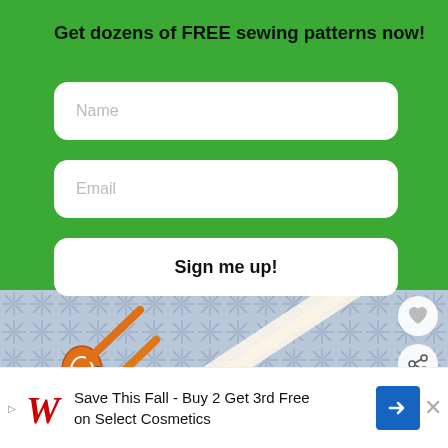Get dozens of FREE sewing patterns now!
Name
Email
Sign me up!
[Figure (photo): Overhead photo of blue patterned fabric with orange scissors and white tape measure or ribbon]
WHAT'S NEXT → Repairing holes in...
Save This Fall - Buy 2 Get 3rd Free on Select Cosmetics